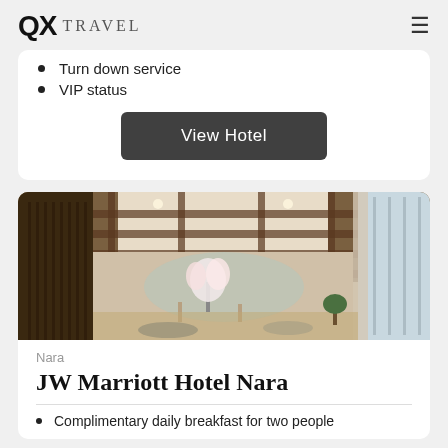QX TRAVEL
Turn down service
VIP status
View Hotel
[Figure (photo): Interior lobby photo of JW Marriott Hotel Nara showing coffered wooden ceiling, warm lighting, floral arrangement, and modern luxury furnishings]
Nara
JW Marriott Hotel Nara
Complimentary daily breakfast for two people